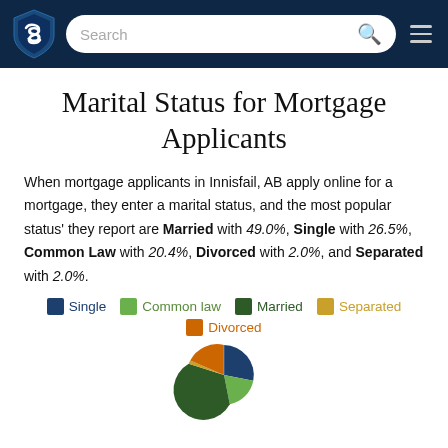Search [search bar] [hamburger menu]
Marital Status for Mortgage Applicants
When mortgage applicants in Innisfail, AB apply online for a mortgage, they enter a marital status, and the most popular status' they report are Married with 49.0%, Single with 26.5%, Common Law with 20.4%, Divorced with 2.0%, and Separated with 2.0%.
[Figure (pie-chart): Marital Status for Mortgage Applicants]